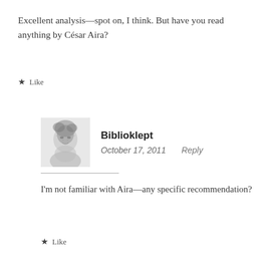Excellent analysis—spot on, I think. But have you read anything by César Aira?
★ Like
Biblioklept
October 17, 2011    Reply
[Figure (illustration): Grayscale sketch/illustration of a figure used as avatar for Biblioklept]
I'm not familiar with Aira—any specific recommendation?
★ Like